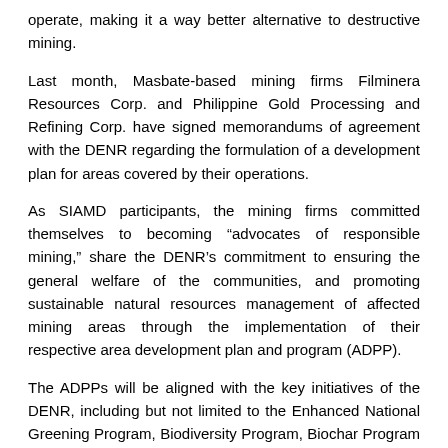operate, making it a way better alternative to destructive mining.
Last month, Masbate-based mining firms Filminera Resources Corp. and Philippine Gold Processing and Refining Corp. have signed memorandums of agreement with the DENR regarding the formulation of a development plan for areas covered by their operations.
As SIAMD participants, the mining firms committed themselves to becoming "advocates of responsible mining," share the DENR's commitment to ensuring the general welfare of the communities, and promoting sustainable natural resources management of affected mining areas through the implementation of their respective area development plan and program (ADPP).
The ADPPs will be aligned with the key initiatives of the DENR, including but not limited to the Enhanced National Greening Program, Biodiversity Program, Biochar Program for Agricultural and Other Wastes, Coastal Research and Management, programs on clean water and clean air, and Solid Waste Management Program.
The accords entered into by the DENR with mining firms were pursuant